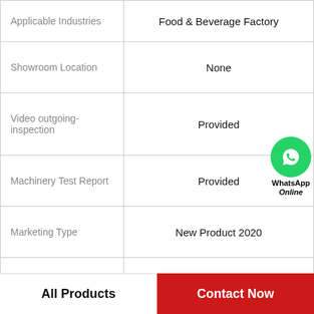| Property | Value |
| --- | --- |
| Applicable Industries | Food & Beverage Factory |
| Showroom Location | None |
| Video outgoing-inspection | Provided |
| Machinery Test Report | Provided |
| Marketing Type | New Product 2020 |
| Warranty of core components | 1 Year |
| Core Components | PLC, Engine, Gearbox, Motor |
| Condition | New |
All Products
Contact Now